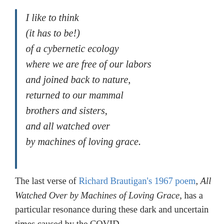I like to think
(it has to be!)
of a cybernetic ecology
where we are free of our labors
and joined back to nature,
returned to our mammal
brothers and sisters,
and all watched over
by machines of loving grace.
The last verse of Richard Brautigan's 1967 poem, All Watched Over by Machines of Loving Grace, has a particular resonance during these dark and uncertain times caused by the COVID-